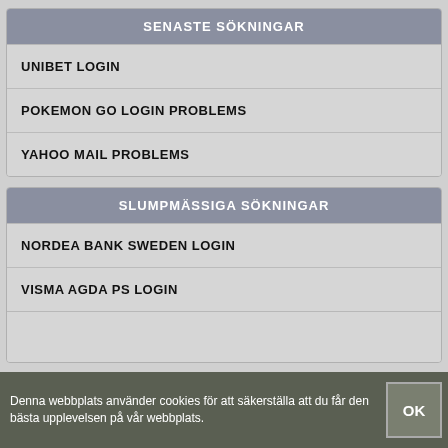SENASTE SÖKNINGAR
UNIBET LOGIN
POKEMON GO LOGIN PROBLEMS
YAHOO MAIL PROBLEMS
SLUMPMÄSSIGA SÖKNINGAR
NORDEA BANK SWEDEN LOGIN
VISMA AGDA PS LOGIN
Denna webbplats använder cookies för att säkerställa att du får den bästa upplevelsen på vår webbplats.